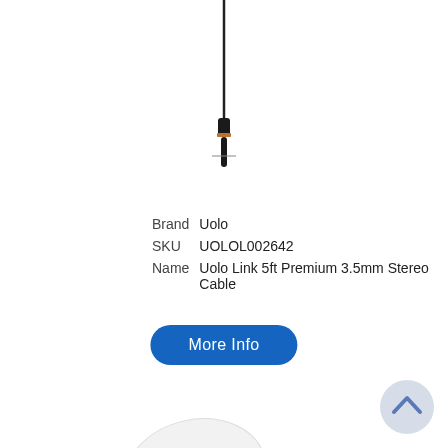[Figure (photo): Partial image of a 3.5mm stereo cable with black cable and gold/copper connector at top of page]
| Brand | Uolo |
| SKU | UOLOL002642 |
| Name | Uolo Link 5ft Premium 3.5mm Stereo Cable |
[Figure (other): Blue rounded rectangle button with white text reading More Info]
[Figure (photo): White wireless earbuds with rose gold accents in an open charging case, with two individual earbuds shown below the case]